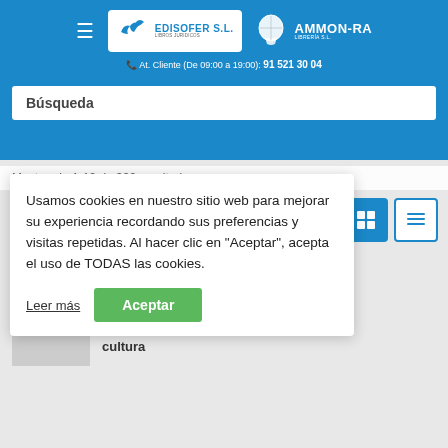[Figure (screenshot): Website header with hamburger menu, Edisofer S.L. logo (white box with bird), and Ammon-Ra Librería S.L. logo on blue background]
At. Cliente (De 09:00 a 19:00): 91 521 30 04
Búsqueda
Usamos cookies en nuestro sitio web para mejorar su experiencia recordando sus preferencias y visitas repetidas. Al hacer clic en "Aceptar", acepta el uso de TODAS las cookies.
Leer más
Aceptar
esecho. a e la cultura